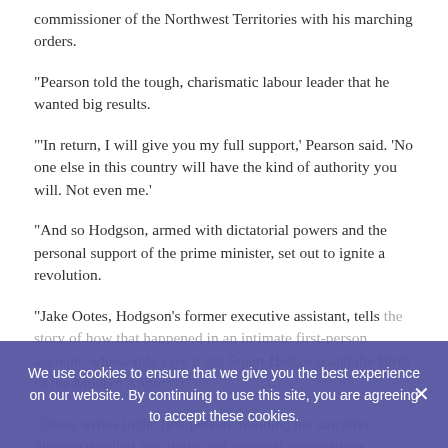commissioner of the Northwest Territories with his marching orders.
“Pearson told the tough, charismatic labour leader that he wanted big results.
“‘In return, I will give you my full support,’ Pearson said. ‘No one else in this country will have the kind of authority you will. Not even me.’
“And so Hodgson, armed with dictatorial powers and the personal support of the prime minister, set out to ignite a revolution.
“Jake Ootes, Hodgson’s former executive assistant, tells the story of how that happened in an intimate first-person account, whose title says it all: Stuart Hodgson and the Birth of the Modern Arctic.
“Ootes writes in the first person, building his narrative through detailed anecdotes and personal observations.
We use cookies to ensure that we give you the best experience on our website. By continuing to use this site, you are agreeing to accept these cookies.